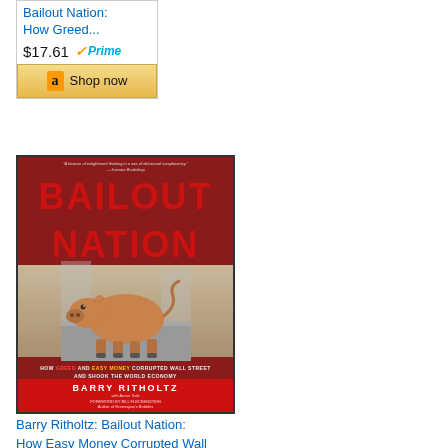Bailout Nation: How Greed...
$17.61 ✓Prime
Shop now
[Figure (photo): Book cover of 'Bailout Nation' by Barry Ritholtz. Red cover with large bold red title text. Features an image of a pig (similar to the Wall Street bull) in the center. Subtitle reads 'How Greed and Easy Money Corrupted Wall Street and Shook the World Economy'. Author name Barry Ritholtz displayed prominently.]
Barry Ritholtz: Bailout Nation: How Easy Money Corrupted Wall